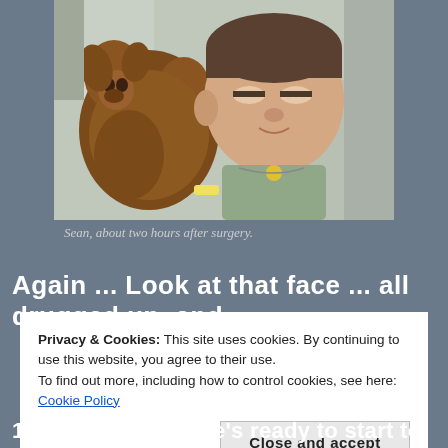[Figure (photo): A young boy lying in a hospital bed with eyes half-closed, holding a brown stuffed animal dog, with a hospital ID band and medical equipment visible.]
Sean, about two hours after surgery.
Again ... Look at that face ... all drugged up, and
Privacy & Cookies: This site uses cookies. By continuing to use this website, you agree to their use.
To find out more, including how to control cookies, see here: Cookie Policy
Close and accept
12 weeks, before he's ready to start to walk." Dr